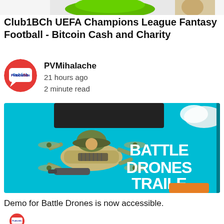[Figure (screenshot): Partial top image strip showing game-related artwork (green character/icon and brown figure on white background)]
Club1BCh UEFA Champions League Fantasy Football - Bitcoin Cash and Charity
[Figure (illustration): Circular red avatar with Publish0x logo (white speech bubble with blue text)]
PVMihalache
21 hours ago
2 minute read
[Figure (screenshot): Battle Drones Trailer thumbnail: a military drone with soldier helmet on cyan/blue sky background with bold white text reading BATTLE DRONES TRAILER]
Demo for Battle Drones is now accessible.
[Figure (illustration): Partial circular red avatar with Publish0x logo at the bottom of the page]